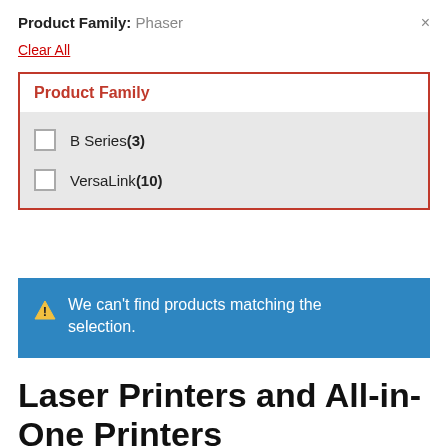Product Family: Phaser ×
Clear All
Product Family
B Series (3)
VersaLink (10)
We can't find products matching the selection.
Laser Printers and All-in-One Printers